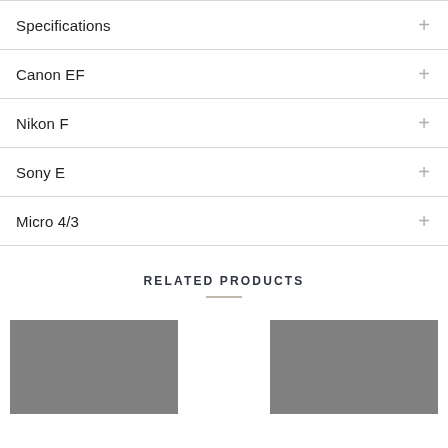Specifications
Canon EF
Nikon F
Sony E
Micro 4/3
RELATED PRODUCTS
[Figure (photo): Two gray placeholder product image boxes side by side]